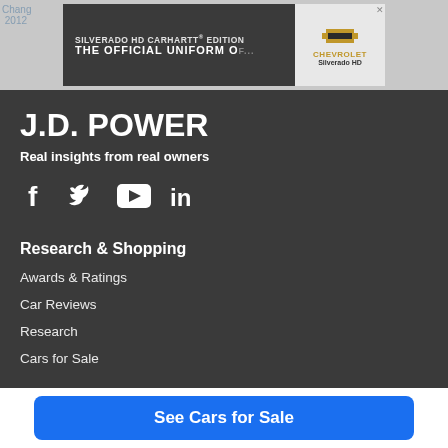[Figure (screenshot): Advertisement banner for Chevrolet Silverado HD Carhartt Edition — 'The Official Uniform Of...' with Chevrolet logo and Silverado HD product name. Close button visible top right.]
J.D. POWER
Real insights from real owners
[Figure (infographic): Social media icons row: Facebook (f), Twitter (bird), YouTube (play button rectangle), LinkedIn (in)]
Research & Shopping
Awards & Ratings
Car Reviews
Research
Cars for Sale
See Cars for Sale